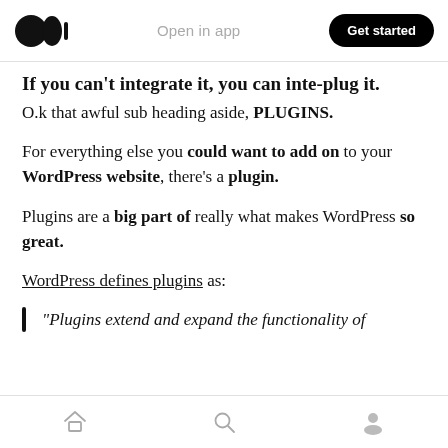Open in app  Get started
If you can't integrate it, you can inte-plug it.
O.k that awful sub heading aside, PLUGINS.
For everything else you could want to add on to your WordPress website, there's a plugin.
Plugins are a big part of really what makes WordPress so great.
WordPress defines plugins as:
“Plugins extend and expand the functionality of
Home Search Profile